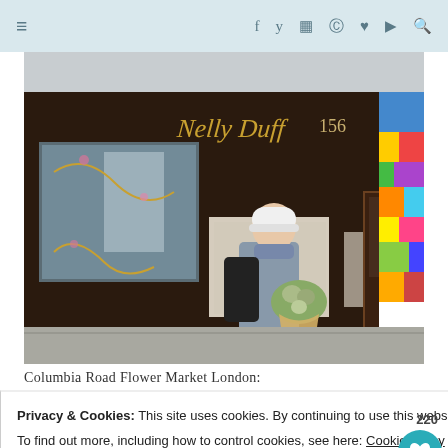≡  f  y  ☷  ⊕  ♥  ▶  🔍
[Figure (photo): A woman wearing a white beanie hat and grey coat holding a large bouquet of flowers in front of a dark shopfront with gold lettering reading 'Nelly Duff' and the number 156, with colorful stained glass artwork on the right side]
Columbia Road Flower Market London:
Privacy & Cookies: This site uses cookies. By continuing to use this website, you agree to their use.
To find out more, including how to control cookies, see here: Cookie Policy
Close and accept
ZOEY